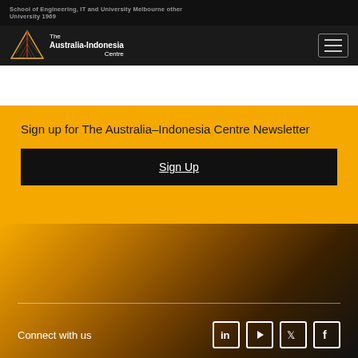The Australia-Indonesia Centre — navbar with logo and hamburger menu
[Figure (logo): The Australia-Indonesia Centre logo with triangle/pyramid graphic and text]
Sign up for The Australia–Indonesia Centre Newsletter
Sign Up
[Figure (illustration): Orange to dark gradient background area in footer]
Connect with us — LinkedIn, YouTube, Twitter, Facebook social icons